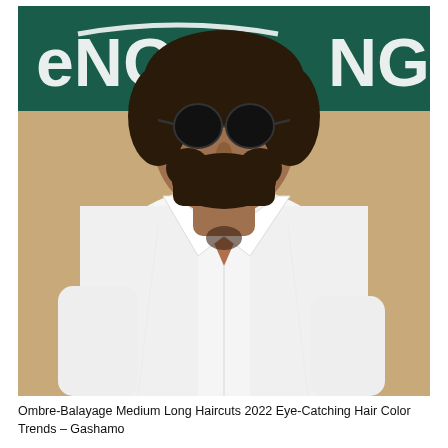[Figure (photo): A man with curly dark hair, round black sunglasses, and a beard, wearing an open white button-up shirt. He stands in front of a dark green banner with white text reading 'ENG...NG'. The background includes a sandy/tan surface.]
Ombre-Balayage Medium Long Haircuts 2022 Eye-Catching Hair Color Trends – Gashamo